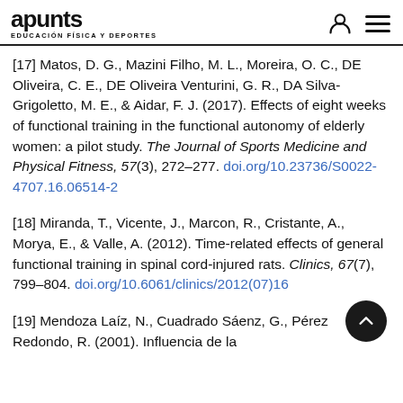apunts EDUCACIÓN FÍSICA Y DEPORTES
[17] Matos, D. G., Mazini Filho, M. L., Moreira, O. C., DE Oliveira, C. E., DE Oliveira Venturini, G. R., DA Silva-Grigoletto, M. E., & Aidar, F. J. (2017). Effects of eight weeks of functional training in the functional autonomy of elderly women: a pilot study. The Journal of Sports Medicine and Physical Fitness, 57(3), 272–277. doi.org/10.23736/S0022-4707.16.06514-2
[18] Miranda, T., Vicente, J., Marcon, R., Cristante, A., Morya, E., & Valle, A. (2012). Time-related effects of general functional training in spinal cord-injured rats. Clinics, 67(7), 799–804. doi.org/10.6061/clinics/2012(07)16
[19] Mendoza Laíz, N., Cuadrado Sáenz, G., Pérez Redondo, R. (2001). Influencia de la